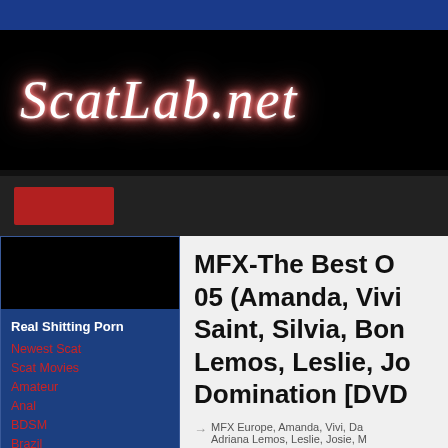ScatLab.net
[Figure (logo): ScatLab.net logo in glowing cursive text on black background]
Real Shitting Porn
Newest Scat
Scat Movies
Amateur
Anal
BDSM
Brazil
Domination
MFX-The Best O... 05 (Amanda, Vivi... Saint, Silvia, Bom... Lemos, Leslie, Jo... Domination [DVD...
MFX Europe, Amanda, Vivi, Da... Adriana Lemos, Leslie, Josie, ...